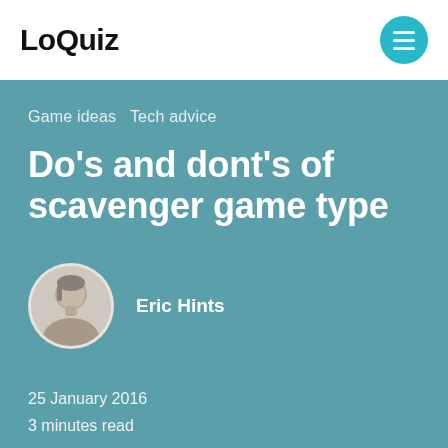LoQuiz
Game ideas  Tech advice
Do's and dont's of scavenger game type
Eric Hints
25 January 2016
3 minutes read